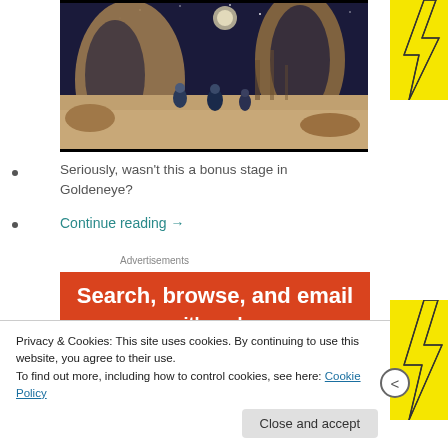[Figure (photo): Scene from what appears to be a sci-fi or action game/film showing armored figures running across a sandy desert landscape with stone ruins and a night sky. Resembles a Goldeneye bonus stage.]
Seriously, wasn't this a bonus stage in Goldeneye?
Continue reading →
Advertisements
[Figure (infographic): Orange advertisement banner with white bold text reading 'Search, browse, and email' with more text cut off below.]
Privacy & Cookies: This site uses cookies. By continuing to use this website, you agree to their use.
To find out more, including how to control cookies, see here: Cookie Policy
Close and accept